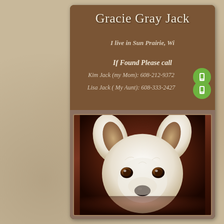Gracie Gray Jack
I live in Sun Prairie, Wi
If Found Please call
Kim Jack (my Mom): 608-212-9372
Lisa Jack ( My Aunt): 608-333-2427
[Figure (photo): Portrait photo of a white dog with brown eyes and perked ears against a dark reddish-brown background]